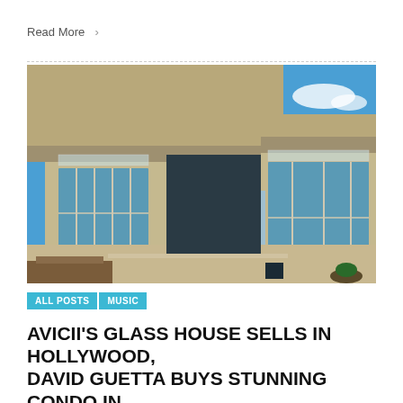Read More >
[Figure (photo): Modern glass and concrete house exterior with large floor-to-ceiling windows, balconies with glass railings, and a pool area, photographed from below against a blue sky with clouds.]
ALL POSTS | MUSIC
AVICII'S GLASS HOUSE SELLS IN HOLLYWOOD, DAVID GUETTA BUYS STUNNING CONDO IN